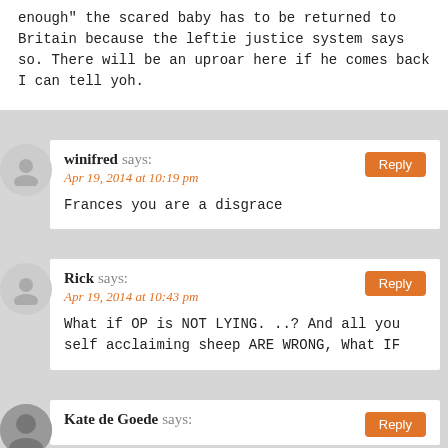enough” the scared baby has to be returned to Britain because the leftie justice system says so. There will be an uproar here if he comes back I can tell yoh.
winifred says:
Apr 19, 2014 at 10:19 pm
Frances you are a disgrace
Rick says:
Apr 19, 2014 at 10:43 pm
What if OP is NOT LYING. ..? And all you self acclaiming sheep ARE WRONG, What IF
Kate de Goede says: